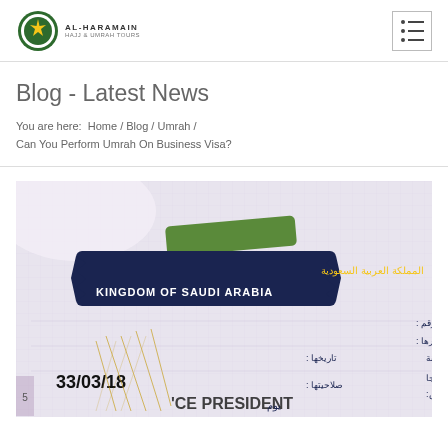Al-Haramain logo and navigation menu
Blog - Latest News
You are here: Home / Blog / Umrah / Can You Perform Umrah On Business Visa?
[Figure (photo): Close-up photograph of a Kingdom of Saudi Arabia visa stamp/sticker in a passport, showing Arabic text المملكة العربية السعودية and KINGDOM OF SAUDI ARABIA text, with fields for number, date, issuing authority, and visit type. Date shown: 33/03/18. Field labels in Arabic and text 'CE PRESIDENT' partially visible.]